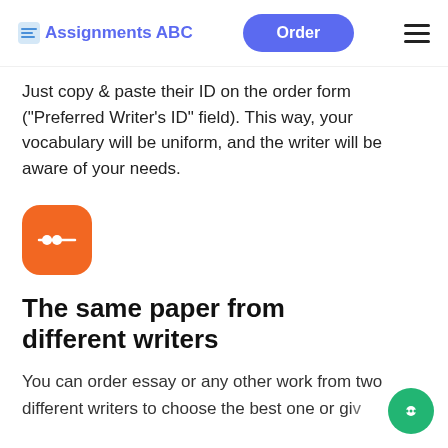Assignments ABC | Order
Just copy & paste their ID on the order form ("Preferred Writer's ID" field). This way, your vocabulary will be uniform, and the writer will be aware of your needs.
[Figure (logo): Orange rounded square icon with a waveform/audio symbol in white]
The same paper from different writers
You can order essay or any other work from two different writers to choose the best one or give